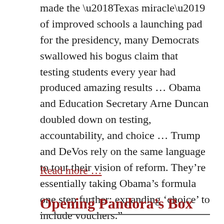made the ‘Texas miracle’ of improved schools a launching pad for the presidency, many Democrats swallowed his bogus claim that testing students every year had produced amazing results … Obama and Education Secretary Arne Duncan doubled down on testing, accountability, and choice … Trump and DeVos rely on the same language to tout their vision of reform. They’re essentially taking Obama’s formula one step further: expanding ‘choice’ to include vouchers.”
Read more …
Opening Pandora’s Box